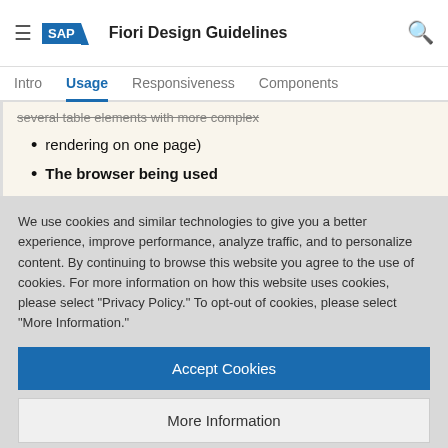SAP Fiori Design Guidelines
Usage
several table elements with more complex rendering on one page)
The browser being used
We use cookies and similar technologies to give you a better experience, improve performance, analyze traffic, and to personalize content. By continuing to browse this website you agree to the use of cookies. For more information on how this website uses cookies, please select "Privacy Policy." To opt-out of cookies, please select "More Information."
Accept Cookies
More Information
Privacy Policy | Powered by: TrustArc
list.